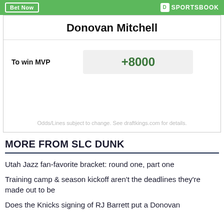Bet Now | DK SPORTSBOOK
Donovan Mitchell
|  |  |
| --- | --- |
| To win MVP | +8000 |
Odds/Lines subject to change. See draftkings.com for details.
MORE FROM SLC DUNK
Utah Jazz fan-favorite bracket: round one, part one
Training camp & season kickoff aren't the deadlines they're made out to be
Does the Knicks signing of RJ Barrett put a Donovan